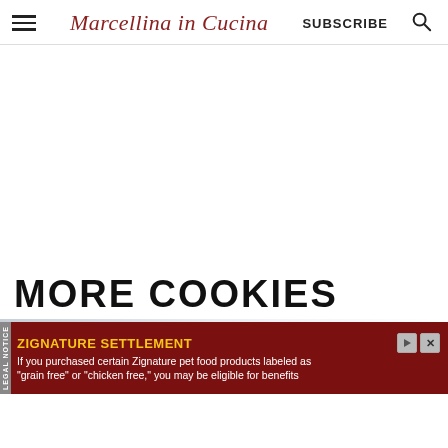Marcellina in Cucina | SUBSCRIBE
[Figure (photo): Blurred image placeholder below the section header, showing a partial food/cookie photo with soft background]
MORE COOKIES
ZIGNATURE SETTLEMENT
If you purchased certain Zignature pet food products labeled as "grain free" or "chicken free," you may be eligible for benefits